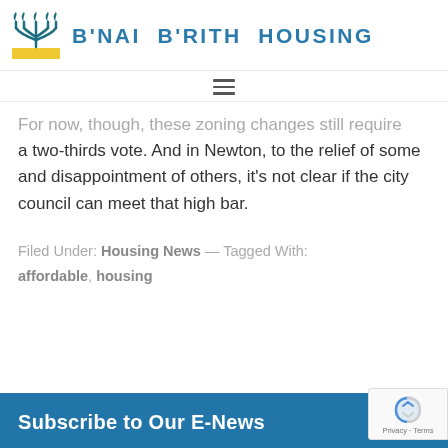[Figure (logo): B'nai B'rith Housing logo with menorah icon and blue/yellow colors, organization name in blue uppercase letters]
[Figure (other): Hamburger menu icon (three horizontal lines)]
For now, though, these zoning changes still require a two-thirds vote. And in Newton, to the relief of some and disappointment of others, it's not clear if the city council can meet that high bar.
Filed Under: Housing News — Tagged With: affordable, housing
Subscribe to Our E-News